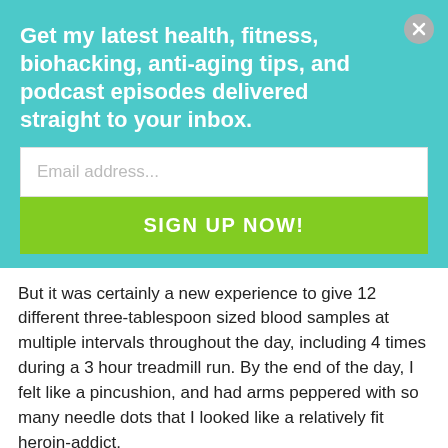Get my latest health, fitness, biohacking, anti-aging tips, and podcast episodes delivered straight to your inbox.
Email address...
SIGN UP NOW!
But it was certainly a new experience to give 12 different three-tablespoon sized blood samples at multiple intervals throughout the day, including 4 times during a 3 hour treadmill run. By the end of the day, I felt like a pincushion, and had arms peppered with so many needle dots that I looked like a relatively fit heroin-addict.
For this study, the blood test was for basic health related blood markers such as cholesterol, triglycerides, glucose, insulin, and inflammatory